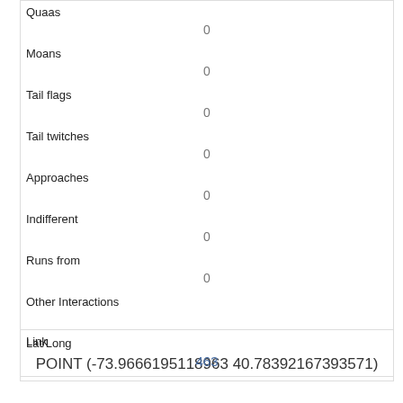| Field | Value |
| --- | --- |
| Quaas | 0 |
| Moans | 0 |
| Tail flags | 0 |
| Tail twitches | 0 |
| Approaches | 0 |
| Indifferent | 0 |
| Runs from | 0 |
| Other Interactions |  |
| Lat/Long | POINT (-73.96661951​18963 40.78392167393571) |
| Field | Value |
| --- | --- |
| Link | 463 |